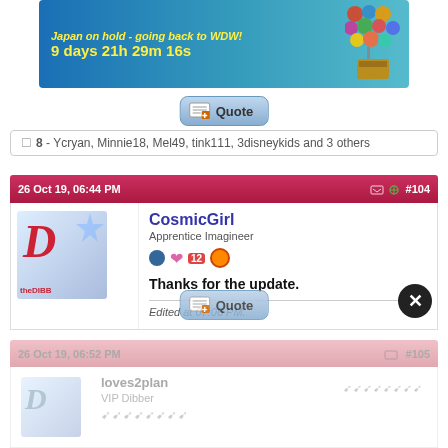[Figure (screenshot): Disney 'Up' themed banner: Japan on hold - going back to WDW! 9 days 21h 29m 16s]
[Figure (screenshot): Quote button]
8 - Ycryan, Minnie18, Mel49, tink111, 3disneykids and 3 others
26 Oct 19, 06:44 PM #104
CosmicGirl
Apprentice Imagineer
Thanks for the update.
Edited at 07:06 PM.
[Figure (screenshot): Quote button]
26 Oct 19, 06:52 PM #105
loves2plan
VIP Dibber